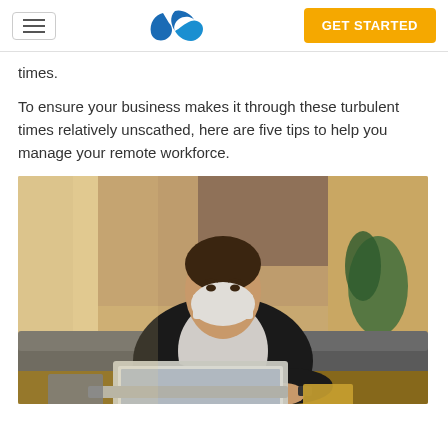GET STARTED
times.
To ensure your business makes it through these turbulent times relatively unscathed, here are five tips to help you manage your remote workforce.
[Figure (photo): A man wearing a face mask sitting at a desk working on a laptop computer, dressed in a dark blazer. The setting appears to be a home or hotel room with warm lighting, a leather couch, and plants in the background.]
...